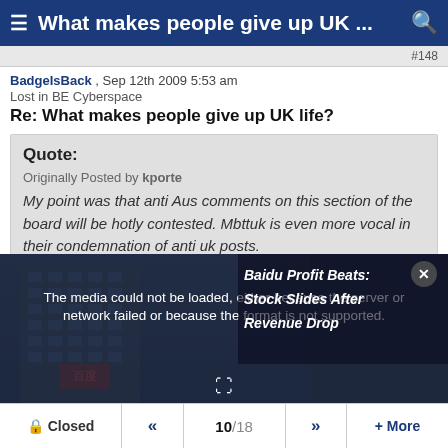What makes people give up UK ...
#148
BadgeIsBack , Sep 12th 2009 5:53 am
Lost in BE Cyberspace
Re: What makes people give up UK life?
Quote:
Originally Posted by kporte
My point was that anti Aus comments on this section of the board will be hotly contested. Mbttuk is even more vocal in their condemnation of anti uk posts.
Well now we are in alignment.... what I am saying - that in
[Figure (screenshot): Media player overlay showing error: 'The media could not be loaded, either because the server or network failed or because the format is not supported.' with a news overlay showing 'Baidu Profit Beats: Stock Slides After Revenue Drop' and a building in background]
Closed  «  10/18  »  + More